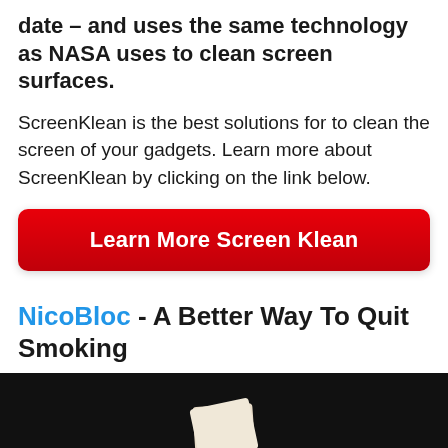date – and uses the same technology as NASA uses to clean screen surfaces.
ScreenKlean is the best solutions for to clean the screen of your gadgets. Learn more about ScreenKlean by clicking on the link below.
Learn More Screen Klean
NicoBloc - A Better Way To Quit Smoking
[Figure (photo): Dark background photo showing a product (NicoBloc), partially visible at the bottom of the page]